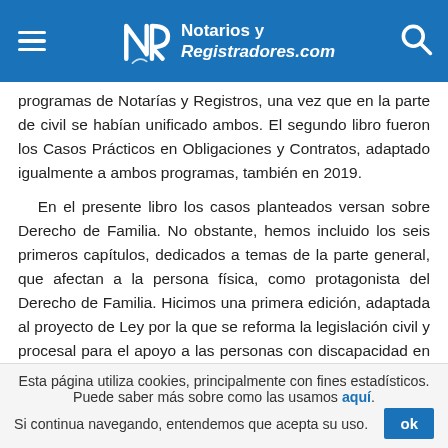Notarios y Registradores.com
programas de Notarías y Registros, una vez que en la parte de civil se habían unificado ambos. El segundo libro fueron los Casos Prácticos en Obligaciones y Contratos, adaptado igualmente a ambos programas, también en 2019.
En el presente libro los casos planteados versan sobre Derecho de Familia. No obstante, hemos incluido los seis primeros capítulos, dedicados a temas de la parte general, que afectan a la persona física, como protagonista del Derecho de Familia. Hicimos una primera edición, adaptada al proyecto de Ley por la que se reforma la legislación civil y procesal para el apoyo a las personas con discapacidad en el ejercicio de su capacidad jurídica. Este proyecto fue objeto
Esta página utiliza cookies, principalmente con fines estadísticos. Puede saber más sobre como las usamos aquí. Si continua navegando, entendemos que acepta su uso.